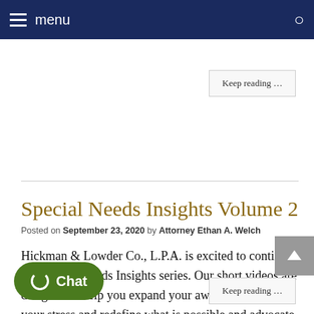menu
Special Needs Insights Volume 2
Posted on September 23, 2020 by Attorney Ethan A. Welch
Hickman & Lowder Co., L.P.A. is excited to continue our Special Needs Insights series. Our short videos are designed to help you expand your awareness, reduce your stress and redefine what is possible and advocate for your loved one.